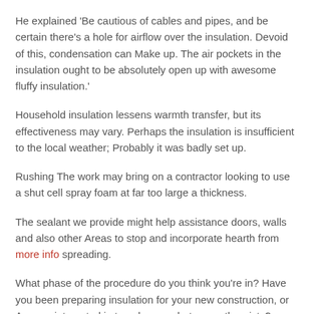He explained 'Be cautious of cables and pipes, and be certain there's a hole for airflow over the insulation. Devoid of this, condensation can Make up. The air pockets in the insulation ought to be absolutely open up with awesome fluffy insulation.'
Household insulation lessens warmth transfer, but its effectiveness may vary. Perhaps the insulation is insufficient to the local weather; Probably it was badly set up.
Rushing The work may bring on a contractor looking to use a shut cell spray foam at far too large a thickness.
The sealant we provide might help assistance doors, walls and also other Areas to stop and incorporate hearth from more info spreading.
What phase of the procedure do you think you're in? Have you been preparing insulation for your new construction, or Are you interested in to enhance what currently exists?
You will find 3 kinds of insulation for flat roofs (as compared to only two